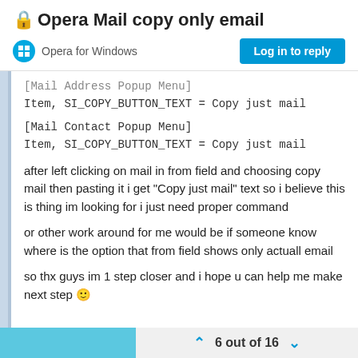🔒 Opera Mail copy only email
Opera for Windows
Log in to reply
[Mail Address Popup Menu]
Item, SI_COPY_BUTTON_TEXT = Copy just mail

[Mail Contact Popup Menu]
Item, SI_COPY_BUTTON_TEXT = Copy just mail
after left clicking on mail in from field and choosing copy mail then pasting it i get "Copy just mail" text so i believe this is thing im looking for i just need proper command
or other work around for me would be if someone know where is the option that from field shows only actuall email
so thx guys im 1 step closer and i hope u can help me make next step 🙂
6 out of 16